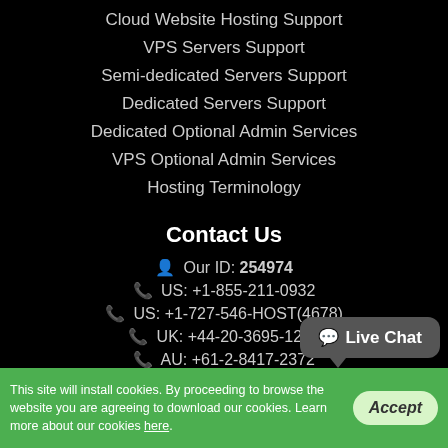Cloud Website Hosting Support
VPS Servers Support
Semi-dedicated Servers Support
Dedicated Servers Support
Dedicated Optional Admin Services
VPS Optional Admin Services
Hosting Terminology
Contact Us
Our ID: 254974
US: +1-855-211-0932
US: +1-727-546-HOST(4678)
UK: +44-20-3695-1294
AU: +61-2-8417-2372
[Figure (other): Live Chat button bubble]
This site will install cookies. By proceeding to browse the website you are agreeing to download our cookies. Learn more about our cookies here.